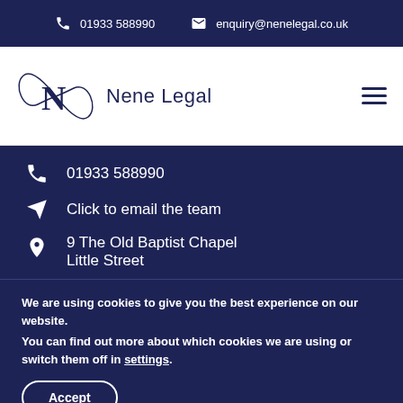01933 588990  enquiry@nenelegal.co.uk
[Figure (logo): Nene Legal logo with infinity-loop N lettermark and company name]
01933 588990
Click to email the team
9 The Old Baptist Chapel
Little Street
We are using cookies to give you the best experience on our website.
You can find out more about which cookies we are using or switch them off in settings.
Accept